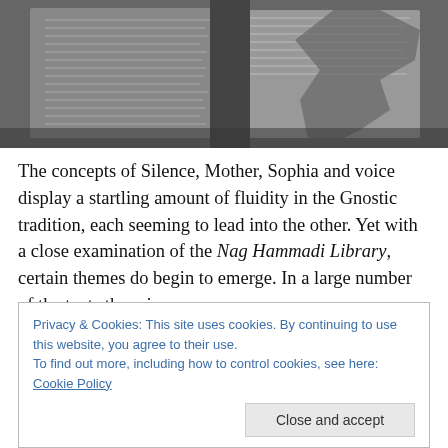[Figure (photo): Black and white photograph of ancient damaged manuscript pages, open book showing handwritten Coptic or Greek text with torn and deteriorated edges]
The concepts of Silence, Mother, Sophia and voice display a startling amount of fluidity in the Gnostic tradition, each seeming to lead into the other. Yet with a close examination of the Nag Hammadi Library, certain themes do begin to emerge. In a large number of the texts there is
Privacy & Cookies: This site uses cookies. By continuing to use this website, you agree to their use.
To find out more, including how to control cookies, see here: Cookie Policy
inasfar as it is a precondition of voice, and hence of